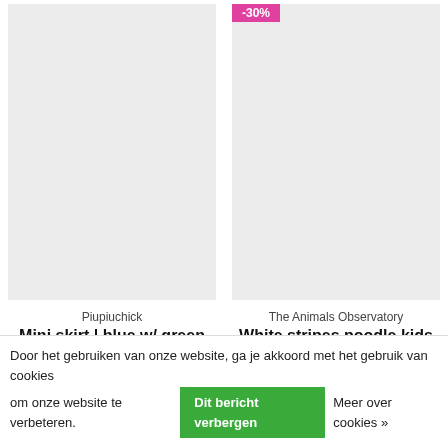[Figure (photo): Product image placeholder for Piupiuchick Mini skirt, light gray background]
[Figure (photo): Product image placeholder for The Animals Observatory White stripes poodle kids pants, light gray background with pink sale badge at top]
Piupiuchick
Mini skirt | blue w/ green hearts
€58,00
The Animals Observatory
White stripes poodle kids pants
€65,00  €19,50
-70%
-70%
Door het gebruiken van onze website, ga je akkoord met het gebruik van cookies om onze website te verbeteren. Dit bericht verbergen Meer over cookies »